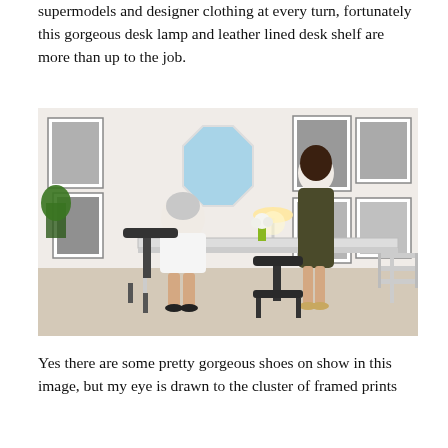supermodels and designer clothing at every turn, fortunately this gorgeous desk lamp and leather lined desk shelf are more than up to the job.
[Figure (photo): An office scene with two women — one seated at a modern white desk, wearing a white blazer, with silver-white hair; the other standing wearing a dark olive dress. The walls are covered with framed black-and-white prints. There is a desk lamp, flowers, and a large octagonal mirror on the wall.]
Yes there are some pretty gorgeous shoes on show in this image, but my eye is drawn to the cluster of framed prints